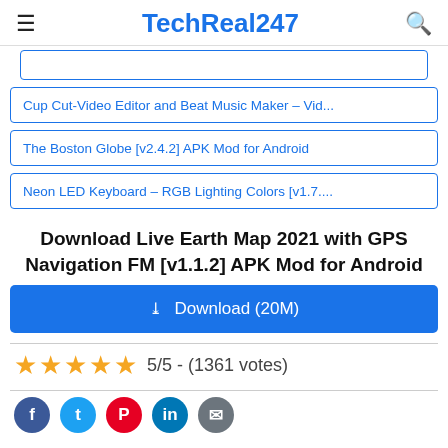TechReal247
Cup Cut-Video Editor and Beat Music Maker – Vid...
The Boston Globe [v2.4.2] APK Mod for Android
Neon LED Keyboard – RGB Lighting Colors [v1.7....
Download Live Earth Map 2021 with GPS Navigation FM [v1.1.2] APK Mod for Android
Download (20M)
5/5 - (1361 votes)